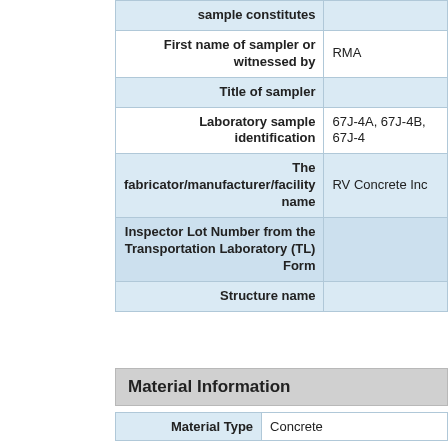| Field | Value |
| --- | --- |
| sample constitutes |  |
| First name of sampler or witnessed by | RMA |
| Title of sampler |  |
| Laboratory sample identification | 67J-4A, 67J-4B, 67J-4 |
| The fabricator/manufacturer/facility name | RV Concrete Inc |
| Inspector Lot Number from the Transportation Laboratory (TL) Form |  |
| Structure name |  |
Material Information
| Field | Value |
| --- | --- |
| Material Type | Concrete |